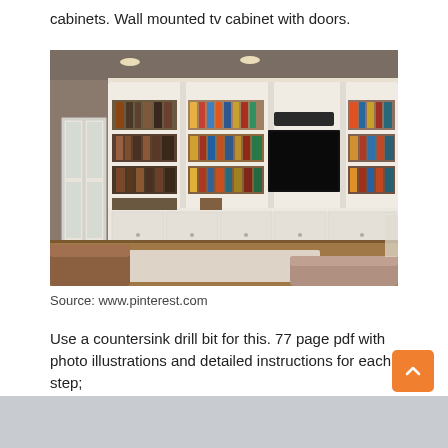cabinets. Wall mounted tv cabinet with doors.
[Figure (photo): Interior photo of a living room with a large white built-in bookcase wall unit featuring multiple shelves filled with books, a large flat-screen TV mounted in the center, a soundbar above the TV, and lower cabinets with doors. Two brown leather sofas and a rug are in the foreground. The walls are taupe/gray.]
Source: www.pinterest.com
Use a countersink drill bit for this. 77 page pdf with photo illustrations and detailed instructions for each step;